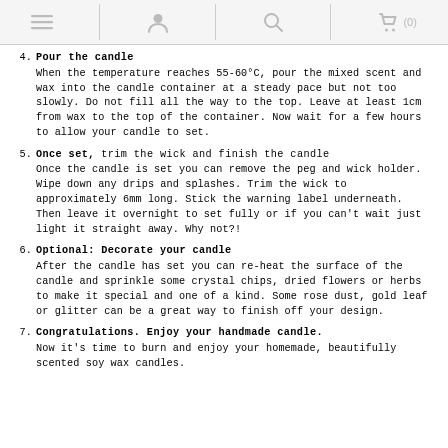[navigation icons: menu, user, search, cart (0)]
4. Pour the candle — When the temperature reaches 55-60°C, pour the mixed scent and wax into the candle container at a steady pace but not too slowly. Do not fill all the way to the top. Leave at least 1cm from wax to the top of the container. Now wait for a few hours to allow your candle to set.
5. Once set, trim the wick and finish the candle — Once the candle is set you can remove the peg and wick holder. Wipe down any drips and splashes. Trim the wick to approximately 6mm long. Stick the warning label underneath. Then leave it overnight to set fully or if you can't wait just light it straight away. Why not?!
6. Optional: Decorate your candle — After the candle has set you can re-heat the surface of the candle and sprinkle some crystal chips, dried flowers or herbs to make it special and one of a kind. Some rose dust, gold leaf or glitter can be a great way to finish off your design.
7. Congratulations. Enjoy your handmade candle. — Now it's time to burn and enjoy your homemade, beautifully scented soy wax candles.